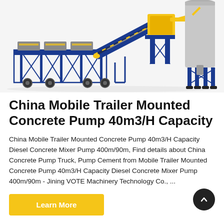[Figure (photo): Photo of a blue and yellow mobile trailer mounted concrete pump machine with conveyor belt and cement silo, on a white background.]
China Mobile Trailer Mounted Concrete Pump 40m3/H Capacity
China Mobile Trailer Mounted Concrete Pump 40m3/H Capacity Diesel Concrete Mixer Pump 400m/90m, Find details about China Concrete Pump Truck, Pump Cement from Mobile Trailer Mounted Concrete Pump 40m3/H Capacity Diesel Concrete Mixer Pump 400m/90m - Jining VOTE Machinery Technology Co., ...